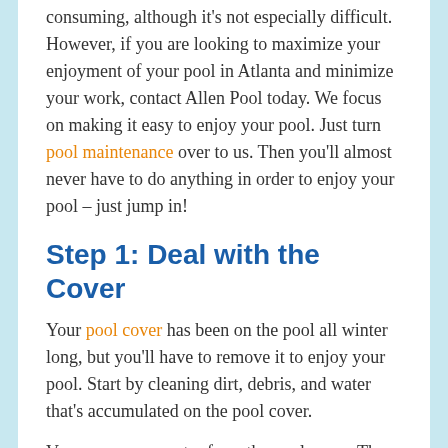consuming, although it's not especially difficult. However, if you are looking to maximize your enjoyment of your pool in Atlanta and minimize your work, contact Allen Pool today. We focus on making it easy to enjoy your pool. Just turn pool maintenance over to us. Then you'll almost never have to do anything in order to enjoy your pool – just jump in!
Step 1: Deal with the Cover
Your pool cover has been on the pool all winter long, but you'll have to remove it to enjoy your pool. Start by cleaning dirt, debris, and water that's accumulated on the pool cover.
Vacuum up any water from the pool cover. Then